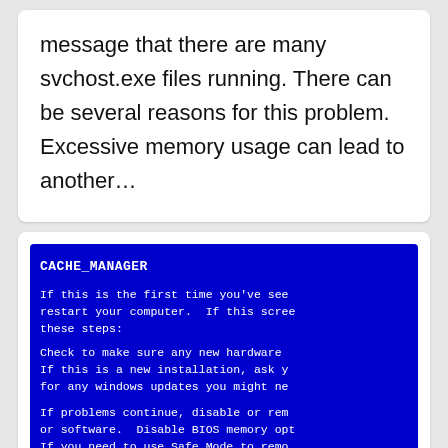message that there are many svchost.exe files running. There can be several reasons for this problem. Excessive memory usage can lead to another…
[Figure (screenshot): Blue Screen of Death (BSOD) screenshot showing CACHE_MANAGER error with Windows error text including instructions about restarting, checking hardware, disabling BIOS memory options, and using Safe Mode.]